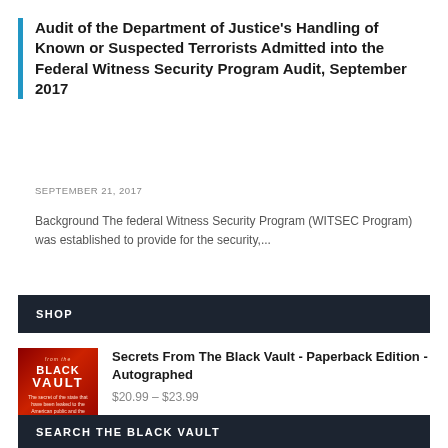Audit of the Department of Justice's Handling of Known or Suspected Terrorists Admitted into the Federal Witness Security Program Audit, September 2017
SEPTEMBER 21, 2017
Background The federal Witness Security Program (WITSEC Program) was established to provide for the security,...
SHOP
[Figure (photo): Book cover for 'Secrets From The Black Vault' - red and dark background with bold white text]
Secrets From The Black Vault - Paperback Edition - Autographed
$20.99 – $23.99
SEARCH THE BLACK VAULT